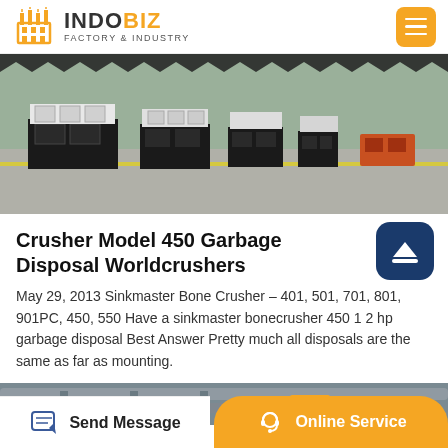INDOBIZ FACTORY & INDUSTRY
[Figure (photo): Industrial crusher machines lined up in a factory floor, black metal frames with white components, concrete floor visible, some green and orange elements in background.]
Crusher Model 450 Garbage Disposal Worldcrushers
May 29, 2013 Sinkmaster Bone Crusher – 401, 501, 701, 801, 901PC, 450, 550 Have a sinkmaster bonecrusher 450 1 2 hp garbage disposal Best Answer Pretty much all disposals are the same as far as mounting.
[Figure (photo): Partial view of industrial machinery at bottom of page, dark gray pipes or tubes visible.]
Send Message | Online Service